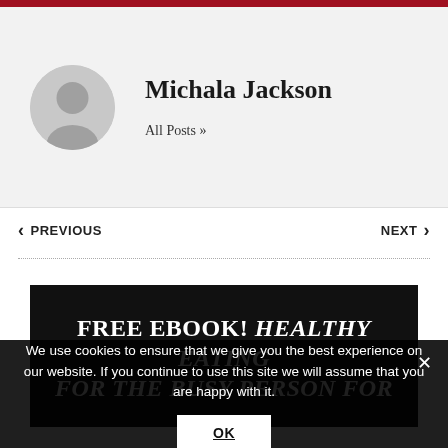[Figure (illustration): Red top bar decorative element]
Michala Jackson
All Posts »
< PREVIOUS
NEXT >
FREE EBOOK! HEALTHY EATING FOR THE BUSY PERSON FOR
We use cookies to ensure that we give you the best experience on our website. If you continue to use this site we will assume that you are happy with it.
OK